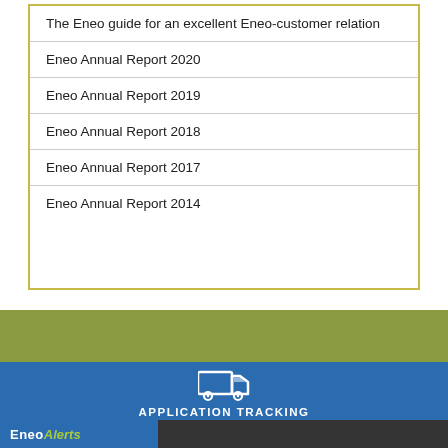The Eneo guide for an excellent Eneo-customer relation
Eneo Annual Report 2020
Eneo Annual Report 2019
Eneo Annual Report 2018
Eneo Annual Report 2017
Eneo Annual Report 2014
[Figure (illustration): Olive/green horizontal banner strip]
[Figure (illustration): Blue section with truck icon, APPLICATION TRACKING title, and Evolution and e-Quotation subtitle, dotted divider, partial envelope icon below]
EneoAlerts